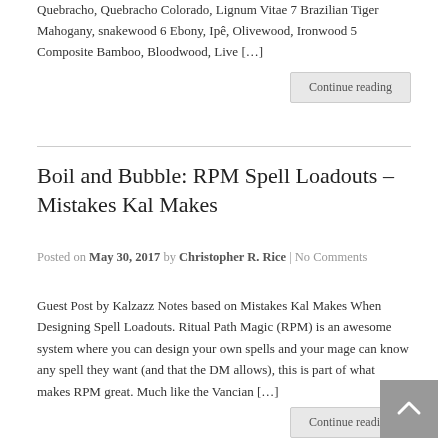Quebracho, Quebracho Colorado, Lignum Vitae 7 Brazilian Tiger Mahogany, snakewood 6 Ebony, Ipê, Olivewood, Ironwood 5 Composite Bamboo, Bloodwood, Live […]
Continue reading
Boil and Bubble: RPM Spell Loadouts – Mistakes Kal Makes
Posted on May 30, 2017 by Christopher R. Rice | No Comments
Guest Post by Kalzazz Notes based on Mistakes Kal Makes When Designing Spell Loadouts. Ritual Path Magic (RPM) is an awesome system where you can design your own spells and your mage can know any spell they want (and that the DM allows), this is part of what makes RPM great. Much like the Vancian […]
Continue reading